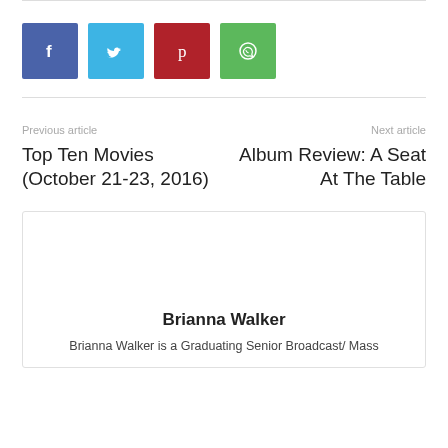[Figure (other): Row of four social share buttons: Facebook (blue), Twitter (light blue), Pinterest (red), WhatsApp (green)]
Previous article
Top Ten Movies (October 21-23, 2016)
Next article
Album Review: A Seat At The Table
Brianna Walker
Brianna Walker is a Graduating Senior Broadcast/ Mass